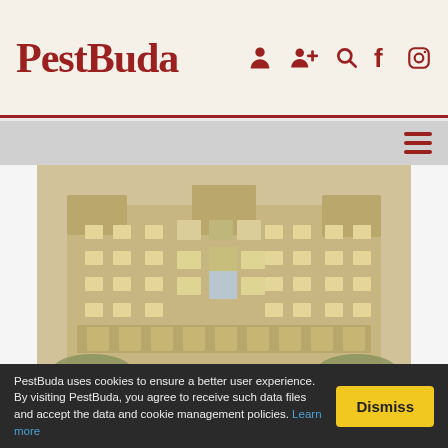PestBuda
[Figure (photo): Sepia-toned historical photograph of a large ornate tenement building on Károly Boulevard, showing multiple stories with towers, reliefs, and arched windows]
Abundance of towers and reliefs - This is what the well-known tenement house on Károly Boulevard looked like
In the huge tenement house in the centre of Pest, at the intersection of Károly Boulevard and Dohány Street, renovation works will soon begin; it will get its
PestBuda uses cookies to ensure a better user experience. By visiting PestBuda, you agree to receive such data files and accept the data and cookie management policies. Learn more